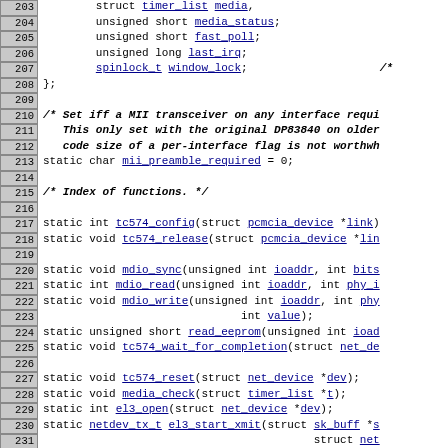Source code listing lines 203-233, C kernel driver code for tc574 network device
203: struct timer_list media,
204: unsigned short media_status;
205: unsigned short fast_poll;
206: unsigned long last_irq;
207: spinlock_t window_lock; /* ...
208: };
209:
210-212: /* Set iff a MII transceiver on any interface requi... comment */
213: static char mii_preamble_required = 0;
214:
215: /* Index of functions. */
216:
217: static int tc574_config(struct pcmcia_device *link)
218: static void tc574_release(struct pcmcia_device *lin...
219:
220: static void mdio_sync(unsigned int ioaddr, int bits...
221: static int mdio_read(unsigned int ioaddr, int phy_i...
222: static void mdio_write(unsigned int ioaddr, int phy...
223:                        int value);
224: static unsigned short read_eeprom(unsigned int ioad...
225: static void tc574_wait_for_completion(struct net_de...
226:
227: static void tc574_reset(struct net_device *dev);
228: static void media_check(struct timer_list *t);
229: static int el3_open(struct net_device *dev);
230: static netdev_tx_t el3_start_xmit(struct sk_buff *s...
231:                                     struct net...
232: static irqreturn_t el3_interrupt(int irq, void *dev...
233: static void...